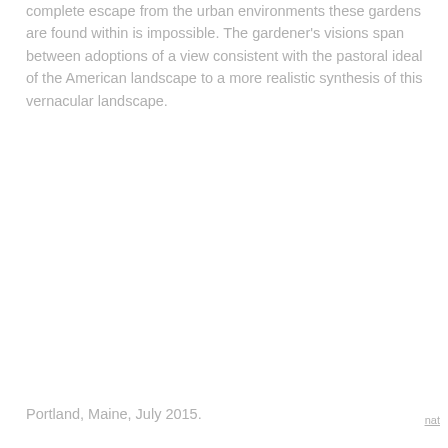complete escape from the urban environments these gardens are found within is impossible. The gardener's visions span between adoptions of a view consistent with the pastoral ideal of the American landscape to a more realistic synthesis of this vernacular landscape.
Portland, Maine, July 2015.
nat